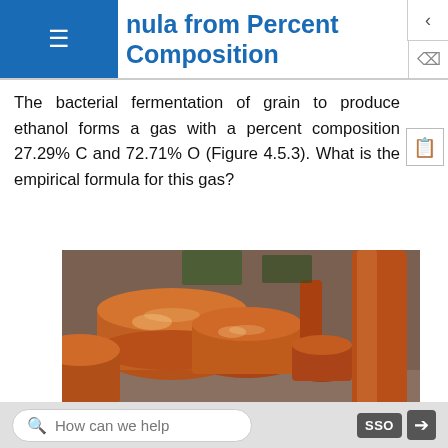Example 1.5.1: Determining an Empirical Formula from Percent Composition
The bacterial fermentation of grain to produce ethanol forms a gas with a percent composition 27.29% C and 72.71% O (Figure 4.5.3). What is the empirical formula for this gas?
[Figure (photo): Photograph of large copper brewery fermentation tanks/vessels in an industrial facility.]
How can we help